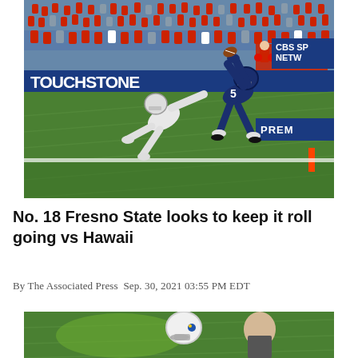[Figure (photo): Football player wearing No. 5 in dark blue Fresno State uniform leaping to catch a ball in the end zone, while a defender in white uniform dives trying to defend. Crowd in red and cheerleaders visible in background. Scoreboard advertisement banners including CBS Sports Network and Premiere visible on boundary wall. Green artificial turf field with orange pylon visible at corner of end zone.]
No. 18 Fresno State looks to keep it roll going vs Hawaii
By The Associated Press Sep. 30, 2021 03:55 PM EDT
[Figure (photo): Partial view of a second football photo showing a player wearing a white helmet and another person, on a green field background.]